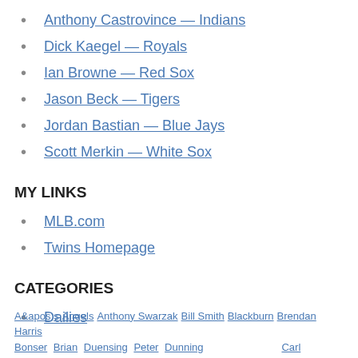Anthony Castrovince — Indians
Dick Kaegel — Royals
Ian Browne — Red Sox
Jason Beck — Tigers
Jordan Bastian — Blue Jays
Scott Merkin — White Sox
MY LINKS
MLB.com
Twins Homepage
CATEGORIES
Dailies
A&apos;s Angels Anthony Swarzak Bill Smith Blackburn Brendan Harris Bonser Brian Duensing Peter Dunning Carl...